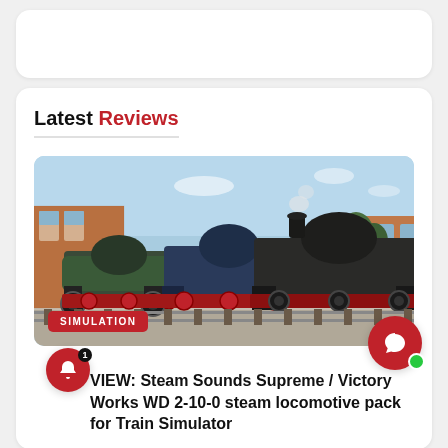Latest Reviews
[Figure (photo): Three dark steam locomotives lined up on tracks at a depot, with a brick building visible in the background and a light blue sky. A red 'SIMULATION' badge is overlaid in the bottom-left corner.]
REVIEW: Steam Sounds Supreme / Victory Works WD 2-10-0 steam locomotive pack for Train Simulator